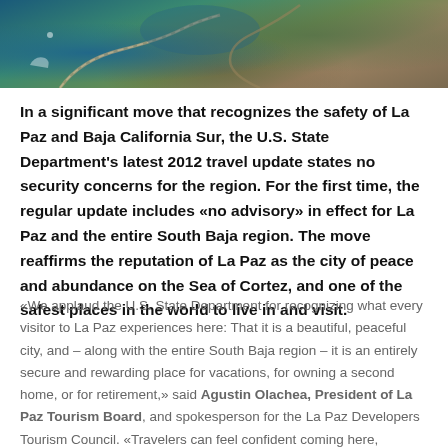[Figure (photo): Aerial photograph of a coastal area near La Paz, Baja California Sur, showing turquoise water, a winding road, and arid terrain from above.]
In a significant move that recognizes the safety of La Paz and Baja California Sur, the U.S. State Department's latest 2012 travel update states no security concerns for the region. For the first time, the regular update includes «no advisory» in effect for La Paz and the entire South Baja region. The move reaffirms the reputation of La Paz as the city of peace and abundance on the Sea of Cortez, and one of the safest places in the world to live in and visit.
«We applaud the U.S. State Department for recognizing what every visitor to La Paz experiences here: That it is a beautiful, peaceful city, and – along with the entire South Baja region – it is an entirely secure and rewarding place for vacations, for owning a second home, or for retirement,» said Agustin Olachea, President of La Paz Tourism Board, and spokesperson for the La Paz Developers Tourism Council. «Travelers can feel confident coming here, knowing